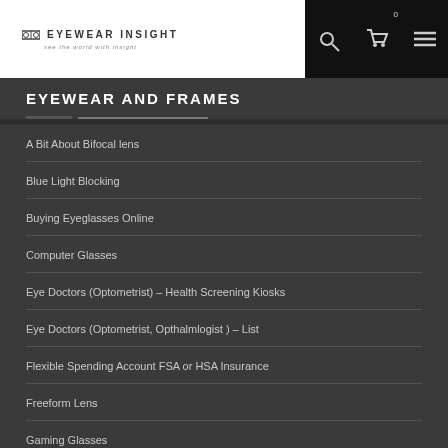EYEWEAR INSIGHT — see the world with insight | Navigation: search, cart (0), menu
EYEWEAR AND FRAMES
A Bit About Bifocal lens
Blue Light Blocking
Buying Eyeglasses Online
Computer Glasses
Eye Doctors (Optometrist) – Health Screening Kiosks
Eye Doctors (Optometrist, Opthalmlogist ) – List
Flexible Spending Account FSA or HSA Insurance
Freeform Lens
Gaming Glasses
Getting Your Prescription
High Index Lenses
How Tinted Lenses Can Help People With Epilepsy
How to Buy Eyeglasses Online